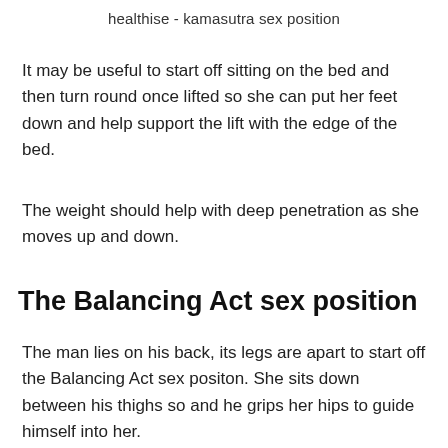healthise - kamasutra sex position
It may be useful to start off sitting on the bed and then turn round once lifted so she can put her feet down and help support the lift with the edge of the bed.
The weight should help with deep penetration as she moves up and down.
The Balancing Act sex position
The man lies on his back, its legs are apart to start off the Balancing Act sex positon. She sits down between his thighs so and he grips her hips to guide himself into her.